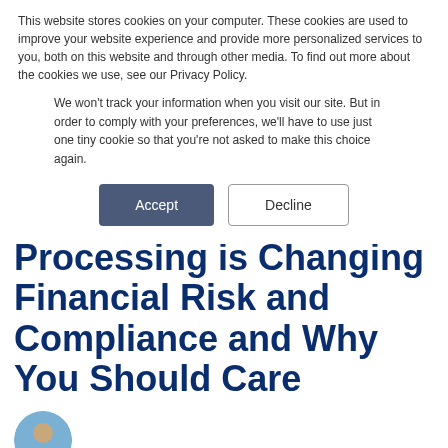This website stores cookies on your computer. These cookies are used to improve your website experience and provide more personalized services to you, both on this website and through other media. To find out more about the cookies we use, see our Privacy Policy.
We won't track your information when you visit our site. But in order to comply with your preferences, we'll have to use just one tiny cookie so that you're not asked to make this choice again.
Accept | Decline (buttons)
Processing is Changing Financial Risk and Compliance and Why You Should Care
[Figure (photo): Circular author avatar photo, partially visible at bottom of page]